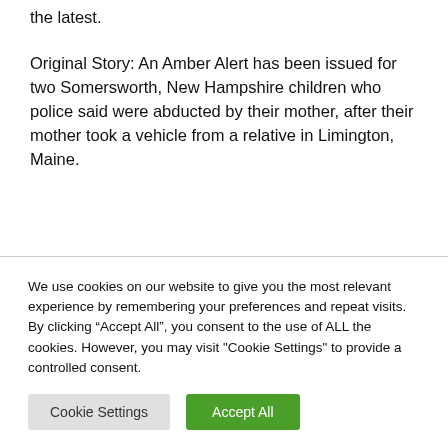the latest.
Original Story: An Amber Alert has been issued for two Somersworth, New Hampshire children who police said were abducted by their mother, after their mother took a vehicle from a relative in Limington, Maine.
Alaina and Chance Wilson were reported missing Thursday at approximately 9:45 pm
We use cookies on our website to give you the most relevant experience by remembering your preferences and repeat visits. By clicking “Accept All”, you consent to the use of ALL the cookies. However, you may visit "Cookie Settings" to provide a controlled consent.